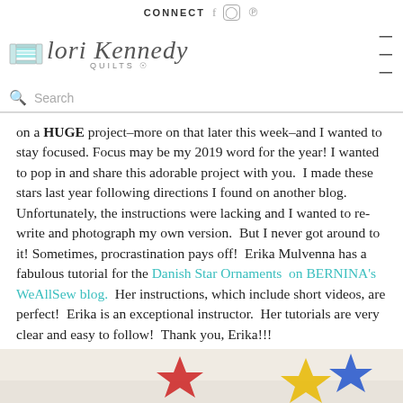CONNECT  f  ○  ℗
[Figure (logo): Lori Kennedy Quilts logo with spool icon and cursive text]
Search
on a HUGE project–more on that later this week–and I wanted to stay focused. Focus may be my 2019 word for the year! I wanted to pop in and share this adorable project with you.  I made these stars last year following directions I found on another blog.  Unfortunately, the instructions were lacking and I wanted to re-write and photograph my own version.  But I never got around to it! Sometimes, procrastination pays off!  Erika Mulvenna has a fabulous tutorial for the Danish Star Ornaments  on BERNINA's WeAllSew blog.  Her instructions, which include short videos, are perfect!  Erika is an exceptional instructor.  Her tutorials are very clear and easy to follow!  Thank you, Erika!!!
[Figure (photo): Photo of colorful paper/fabric Danish star ornaments on a light background]